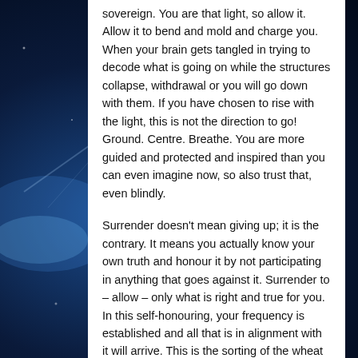sovereign. You are that light, so allow it. Allow it to bend and mold and charge you. When your brain gets tangled in trying to decode what is going on while the structures collapse, withdrawal or you will go down with them. If you have chosen to rise with the light, this is not the direction to go! Ground. Centre. Breathe. You are more guided and protected and inspired than you can even imagine now, so also trust that, even blindly.
Surrender doesn't mean giving up; it is the contrary. It means you actually know your own truth and honour it by not participating in anything that goes against it. Surrender to – allow – only what is right and true for you. In this self-honouring, your frequency is established and all that is in alignment with it will arrive. This is the sorting of the wheat from the chaff so to speak, the time of reckoning. You must choose your stance, your place, your right, your freedom, your dignity, your sovereignty